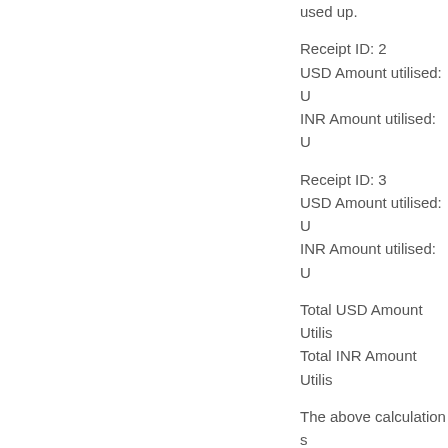used up.
Receipt ID: 2
USD Amount utilised: U
INR Amount utilised: U
Receipt ID: 3
USD Amount utilised: U
INR Amount utilised: U
Total USD Amount Utilis
Total INR Amount Utilis
The above calculation s
The Invoice amount in
difference between the
payment is completed:
Invoice ID: 1
Invoice Amount: USD 10
Pending Amout: USD 0
Forex Loss: INR 150